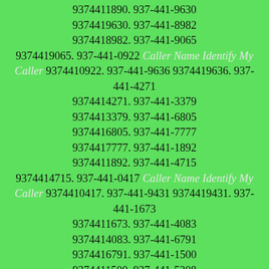9374411890. 937-441-9630 9374419630. 937-441-8982 9374418982. 937-441-9065 9374419065. 937-441-0922 Caller Name Identify My Caller 9374410922. 937-441-9636 9374419636. 937-441-4271 9374414271. 937-441-3379 9374413379. 937-441-6805 9374416805. 937-441-7777 9374417777. 937-441-1892 9374411892. 937-441-4715 9374414715. 937-441-0417 Caller Name Identify My Caller 9374410417. 937-441-9431 9374419431. 937-441-1673 9374411673. 937-441-4083 9374414083. 937-441-6791 9374416791. 937-441-1500 9374411500. 937-441-5308 9374415308. 937-441-8148 9374418148. 937-441-6421 9374416421. 937-441-6112 9374416112. 937-441-9148 9374419148. 937-441-7533 9374417533. 937-441-3355 9374413355. 937-441-0061 9374410061. 937-441-5568